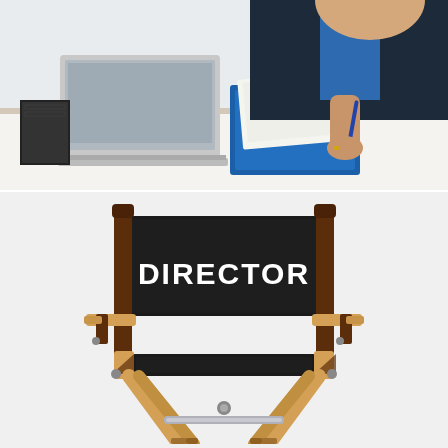[Figure (photo): A person in a dark suit sitting at a desk with a laptop, writing on documents in a blue binder. Office setting with white background.]
[Figure (illustration): A director's chair illustration with wooden frame in light tan/oak color, black fabric seat and back panel. The back panel reads 'DIRECTOR' in bold white letters. The chair legs form an X-shape at the bottom.]